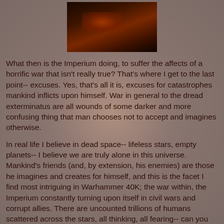[Figure (photo): Dark reddish-brown image, appears to show fire or glowing embers in darkness]
What then is the Imperium doing, to suffer the affects of a horrific war that isn't really true?  That's where I get to the last point-- excuses.  Yes, that's all it is, excuses for catastrophes mankind inflicts upon himself.  War in general to the dread exterminatus are all wounds of some darker and more confusing thing that man chooses not to accept and imagines otherwise.
In real life I believe in dead space-- lifeless stars, empty planets-- I believe we are truly alone in this universe.  Mankind's friends (and, by extension, his enemies) are those he imagines and creates for himself, and this is the facet I find most intriguing in Warhammer 40K; the war within, the Imperium constantly turning upon itself in civil wars and corrupt allies.  There are uncounted trillions of humans scattered across the stars, all thinking, all fearing-- can you imagine the psychic presence that would have?  Hallucinations can take all forms, including "implanted" memories such that the mind will create to try and make a